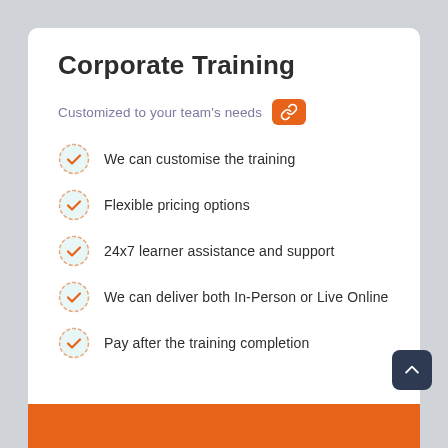Corporate Training
Customized to your team's needs
We can customise the training
Flexible pricing options
24x7 learner assistance and support
We can deliver both In-Person or Live Online
Pay after the training completion